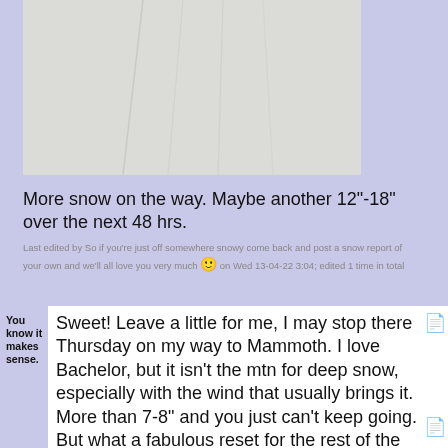[Figure (photo): Snow-covered surface or ski run, light gray/white tones with faint track lines visible]
More snow on the way. Maybe another 12"-18" over the next 48 hrs.
Last edited by So if you're just off somewhere snowy come back and post a snow report of your own and we'll all love you very much :) on Wed 13-04-22 3:04; edited 1 time in total
You know it makes sense.
Sweet! Leave a little for me, I may stop there Thursday on my way to Mammoth. I love Bachelor, but it isn't the mtn for deep snow, especially with the wind that usually brings it. More than 7-8" and you just can't keep going. But what a fabulous reset for the rest of the season....and for the